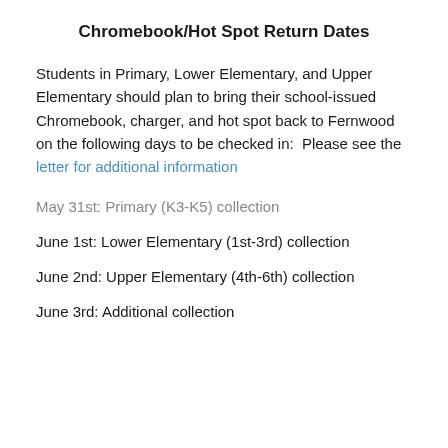Chromebook/Hot Spot Return Dates
Students in Primary, Lower Elementary, and Upper Elementary should plan to bring their school-issued Chromebook, charger, and hot spot back to Fernwood on the following days to be checked in:  Please see the letter for additional information
May 31st: Primary (K3-K5) collection
June 1st: Lower Elementary (1st-3rd) collection
June 2nd: Upper Elementary (4th-6th) collection
June 3rd: Additional collection